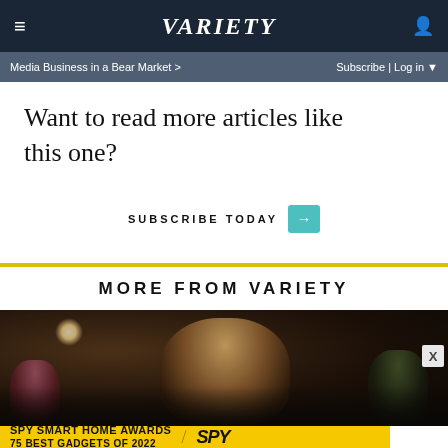Variety — Media Business in a Bear Market > | Subscribe | Log in
Want to read more articles like this one?
SUBSCRIBE TODAY →
MORE FROM VARIETY
[Figure (photo): Dark indoor scene with a man with curly hair standing in what appears to be a bar or restaurant, other people visible in the background]
[Figure (infographic): Advertisement banner: SPY SMART HOME AWARDS — 75 BEST GADGETS OF 2022 with SPY logo]